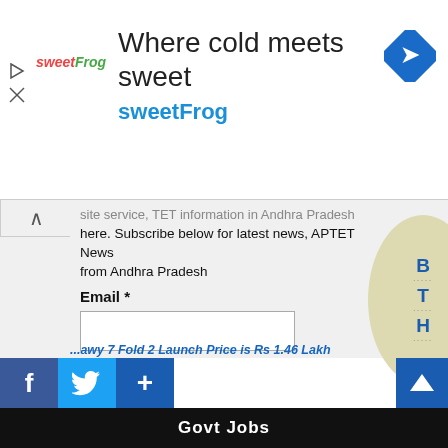[Figure (screenshot): Advertisement banner for sweetFrog frozen yogurt: 'Where cold meets sweet' with sweetFrog logo and navigation arrow icon]
site service, TET Information in Andhra Pradesh here. Subscribe below for latest news, APTET News from Andhra Pradesh
Email *
Subscribe!
Immunity-Boosting Ginger (Adrak) Barfi May Do Wonders For Cough And Cold
Who conducts TET in Andhra Pradesh?
Commissionerate of School Education
What is the age limit to appear in APTET?
There is no upper age limit
Govt Jobs